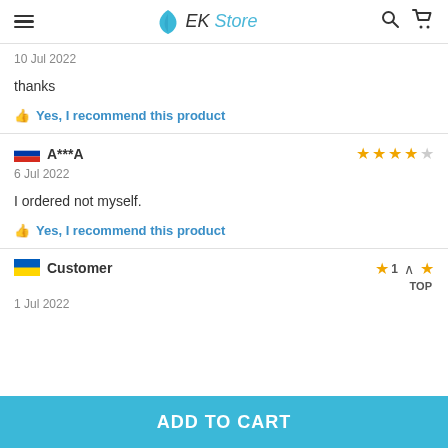EK Store
10 Jul 2022
thanks
👍 Yes, I recommend this product
A***A · 4 stars · 6 Jul 2022
I ordered not myself.
👍 Yes, I recommend this product
Customer · 1 star · 1 Jul 2022
ADD TO CART